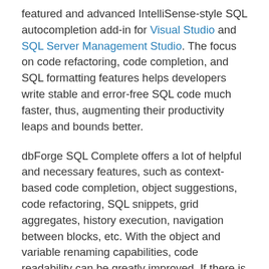featured and advanced IntelliSense-style SQL autocompletion add-in for Visual Studio and SQL Server Management Studio. The focus on code refactoring, code completion, and SQL formatting features helps developers write stable and error-free SQL code much faster, thus, augmenting their productivity leaps and bounds better.
dbForge SQL Complete offers a lot of helpful and necessary features, such as context-based code completion, object suggestions, code refactoring, SQL snippets, grid aggregates, history execution, navigation between blocks, etc. With the object and variable renaming capabilities, code readability can be greatly improved. If there is a need to customize SQL code formatting, developers can easily apply formatting styles and profiles.